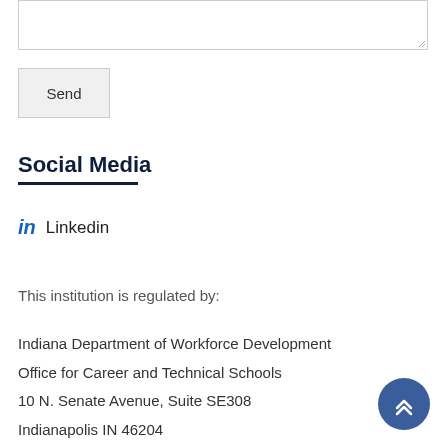[Figure (other): Text input textarea form field]
Send
Social Media
in  Linkedin
This institution is regulated by:
Indiana Department of Workforce Development
Office for Career and Technical Schools
10 N. Senate Avenue, Suite SE308
Indianapolis IN 46204